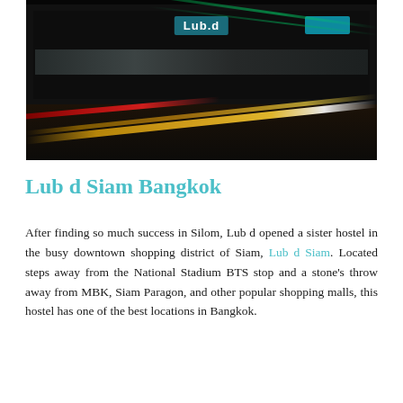[Figure (photo): Night street scene in Bangkok showing the Lub d hostel storefront with neon signs including the 'Lub.d' logo in teal, and long-exposure light trails from passing vehicles — yellow/orange streaks in the middle and red on the left, with green light streaks visible near the top right. Dark road surface and illuminated shop fronts in background.]
Lub d Siam Bangkok
After finding so much success in Silom, Lub d opened a sister hostel in the busy downtown shopping district of Siam, Lub d Siam. Located steps away from the National Stadium BTS stop and a stone's throw away from MBK, Siam Paragon, and other popular shopping malls, this hostel has one of the best locations in Bangkok.